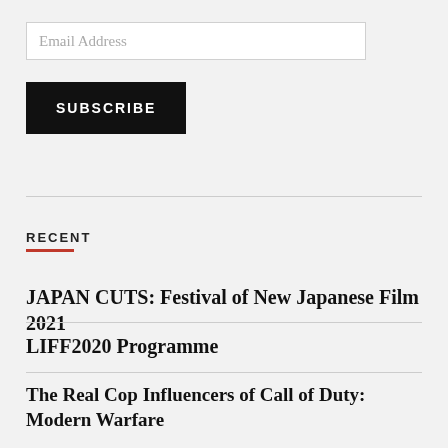Email Address
SUBSCRIBE
RECENT
JAPAN CUTS: Festival of New Japanese Film 2021
LIFF2020 Programme
The Real Cop Influencers of Call of Duty: Modern Warfare